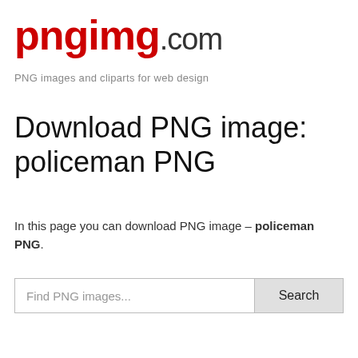pngimg.com
PNG images and cliparts for web design
Download PNG image: policeman PNG
In this page you can download PNG image – policeman PNG.